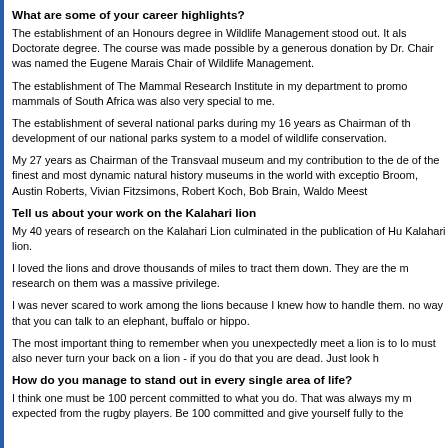What are some of your career highlights?
The establishment of an Honours degree in Wildlife Management stood out. It also led to a Doctorate degree. The course was made possible by a generous donation by Dr. Chair was named the Eugene Marais Chair of Wildlife Management.
The establishment of The Mammal Research Institute in my department to promote mammals of South Africa was also very special to me.
The establishment of several national parks during my 16 years as Chairman of the development of our national parks system to a model of wildlife conservation.
My 27 years as Chairman of the Transvaal museum and my contribution to the development of the finest and most dynamic natural history museums in the world with exception Broom, Austin Roberts, Vivian Fitzsimons, Robert Koch, Bob Brain, Waldo Meesto
Tell us about your work on the Kalahari lion
My 40 years of research on the Kalahari Lion culminated in the publication of Kalahari lion.
I loved the lions and drove thousands of miles to tract them down. They are the most research on them was a massive privilege.
I was never scared to work among the lions because I knew how to handle them. no way that you can talk to an elephant, buffalo or hippo.
The most important thing to remember when you unexpectedly meet a lion is to look must also never turn your back on a lion - if you do that you are dead. Just look h
How do you manage to stand out in every single area of life?
I think one must be 100 percent committed to what you do. That was always my expected from the rugby players. Be 100 committed and give yourself fully to the